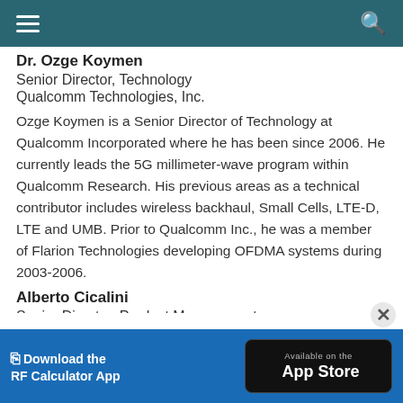≡  🔍
Dr. Ozge Koymen
Senior Director, Technology
Qualcomm Technologies, Inc.
Ozge Koymen is a Senior Director of Technology at Qualcomm Incorporated where he has been since 2006. He currently leads the 5G millimeter-wave program within Qualcomm Research. His previous areas as a technical contributor includes wireless backhaul, Small Cells, LTE-D, LTE and UMB. Prior to Qualcomm Inc., he was a member of Flarion Technologies developing OFDMA systems during 2003-2006.
Alberto Cicalini
Senior Director, Product Management
Qualcomm Europe, Inc.
[Figure (screenshot): App download banner: 'Download the RF Calculator App' with 'Available on the App Store' button]